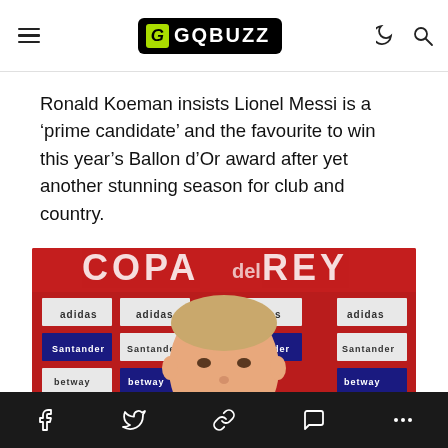GQBUZZ
Ronald Koeman insists Lionel Messi is a 'prime candidate' and the favourite to win this year's Ballon d'Or award after yet another stunning season for club and country.
[Figure (photo): Ronald Koeman speaking at a press conference in front of a red Copa del Rey branded backdrop with Santander and Adidas sponsor logos.]
Social share bar: Facebook, Twitter, Link, Comment, More